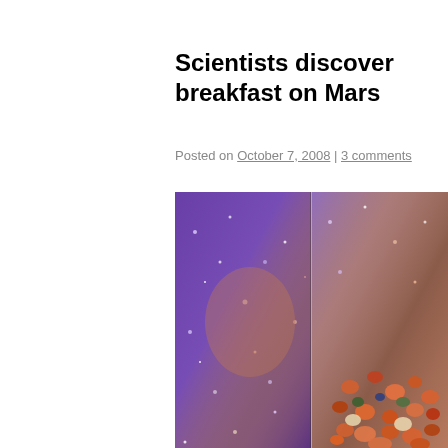Scientists discover breakfast on Mars
Posted on October 7, 2008 | 3 comments
[Figure (photo): Side-by-side macro photograph: left half shows a purple/blue glittery mineral surface from Mars, right half shows colorful cereal pieces (breakfast cereal), suggesting a humorous comparison.]